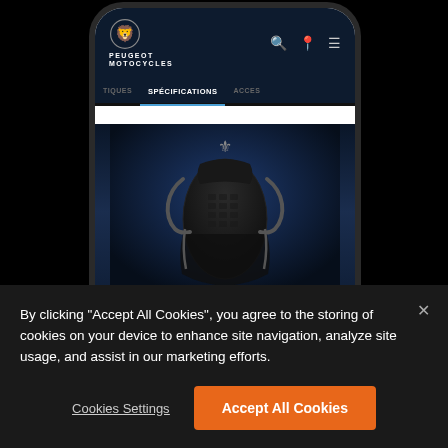[Figure (screenshot): Mobile phone screenshot of Peugeot Motocycles website showing SPÉCIFICATIONS tab selected with a dark-themed navigation bar, and a top-down view of a dark Peugeot scooter/motorcycle seat and body.]
By clicking "Accept All Cookies", you agree to the storing of cookies on your device to enhance site navigation, analyze site usage, and assist in our marketing efforts.
Cookies Settings
Accept All Cookies